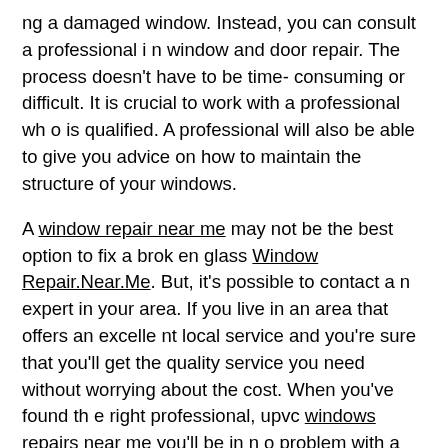ng a damaged window. Instead, you can consult a professional in window and door repair. The process doesn't have to be time-consuming or difficult. It is crucial to work with a professional who is qualified. A professional will also be able to give you advice on how to maintain the structure of your windows.
A window repair near me may not be the best option to fix a broken glass Window Repair.Near.Me. But, it's possible to contact an expert in your area. If you live in an area that offers an excellent local service and you're sure that you'll get the quality service you need without worrying about the cost. When you've found the right professional, upvc windows repairs near me you'll be in no problem with a broken window in no time. It's also simple to find an emergency repair service near you.
Some people employ an expert in window repair near me to address minor window problems. But other people need an repair to their window for an issue that is more complex. Based on the iss